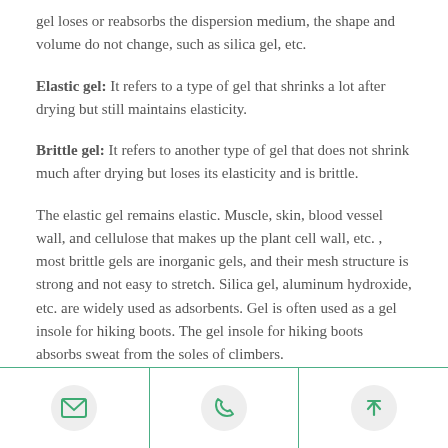gel loses or reabsorbs the dispersion medium, the shape and volume do not change, such as silica gel, etc.
Elastic gel: It refers to a type of gel that shrinks a lot after drying but still maintains elasticity.
Brittle gel: It refers to another type of gel that does not shrink much after drying but loses its elasticity and is brittle.
The elastic gel remains elastic. Muscle, skin, blood vessel wall, and cellulose that makes up the plant cell wall, etc. , most brittle gels are inorganic gels, and their mesh structure is strong and not easy to stretch. Silica gel, aluminum hydroxide, etc. are widely used as adsorbents. Gel is often used as a gel insole for hiking boots. The gel insole for hiking boots absorbs sweat from the soles of climbers.
[Figure (infographic): Footer bar with three icon sections separated by vertical green lines: email icon (envelope), phone icon (old telephone handset), and upload/top arrow icon. Each icon is inside a light gray circle on a white background.]